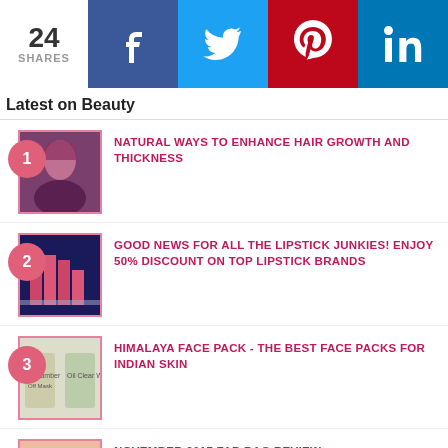24 SHARES | Facebook | Twitter | Pinterest | LinkedIn
Latest on Beauty
NATURAL WAYS TO ENHANCE HAIR GROWTH AND THICKNESS
GOOD NEWS FOR ALL THE LIPSTICK JUNKIES! ENJOY 50% DISCOUNT ON TOP LIPSTICK BRANDS
HIMALAYA FACE PACK - THE BEST FACE PACKS FOR INDIAN SKIN
NOVEMBER 2017 FAB BAG REVIEW